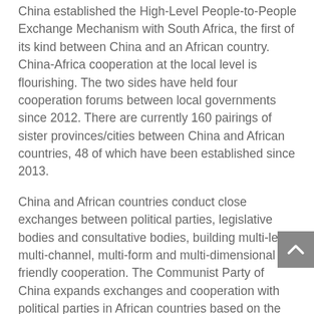China established the High-Level People-to-People Exchange Mechanism with South Africa, the first of its kind between China and an African country. China-Africa cooperation at the local level is flourishing. The two sides have held four cooperation forums between local governments since 2012. There are currently 160 pairings of sister provinces/cities between China and African countries, 48 of which have been established since 2013.
China and African countries conduct close exchanges between political parties, legislative bodies and consultative bodies, building multi-level, multi-channel, multi-form and multi-dimensional friendly cooperation. The Communist Party of China expands exchanges and cooperation with political parties in African countries based on the principles of independence, equality, mutual respect and non-interference in each other's internal affairs. It is committed to building a new type of relations between political parties in which different political parties seek common ground while setting aside